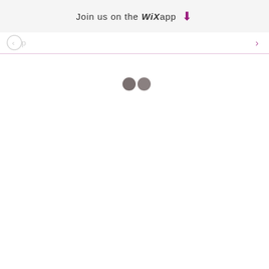Join us on the WiX app ⬇
[Figure (screenshot): Mobile app loading screen with Wix banner at top showing 'Join us on the WiX app' with download icon, a purple horizontal rule, a partially visible navigation bar, and two gray loading dots centered in the white content area below.]